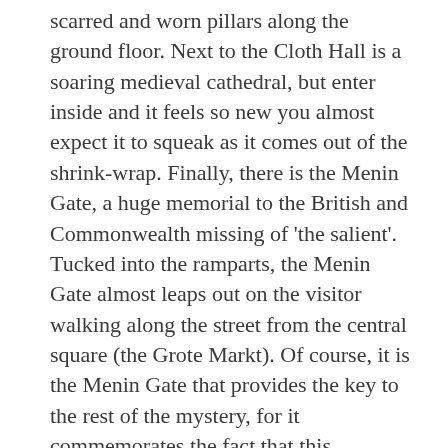scarred and worn pillars along the ground floor. Next to the Cloth Hall is a soaring medieval cathedral, but enter inside and it feels so new you almost expect it to squeak as it comes out of the shrink-wrap. Finally, there is the Menin Gate, a huge memorial to the British and Commonwealth missing of 'the salient'. Tucked into the ramparts, the Menin Gate almost leaps out on the visitor walking along the street from the central square (the Grote Markt). Of course, it is the Menin Gate that provides the key to the rest of the mystery, for it commemorates the fact that this charming West Flanders city witnessed some of the most intense and prolonged fighting on the Western Front between 1914 and 1918. During that fighting, Ypres was reduced to rubble and ashes only to rise again in replica form. And that is an underlying theme of our new book, Ypres: the recycling, rebuilding, reconstruction of images, stories, and histories of